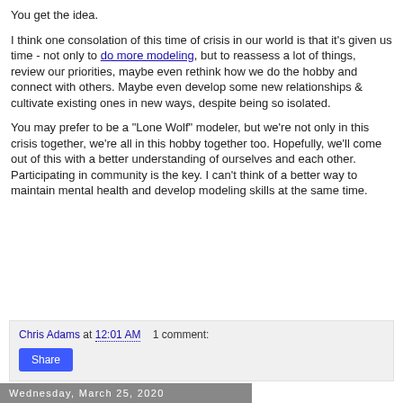You get the idea.
I think one consolation of this time of crisis in our world is that it's given us time - not only to do more modeling, but to reassess a lot of things, review our priorities, maybe even rethink how we do the hobby and connect with others. Maybe even develop some new relationships & cultivate existing ones in new ways, despite being so isolated.
You may prefer to be a "Lone Wolf" modeler, but we're not only in this crisis together, we're all in this hobby together too. Hopefully, we'll come out of this with a better understanding of ourselves and each other. Participating in community is the key. I can't think of a better way to maintain mental health and develop modeling skills at the same time.
Chris Adams at 12:01 AM   1 comment:
Wednesday, March 25, 2020